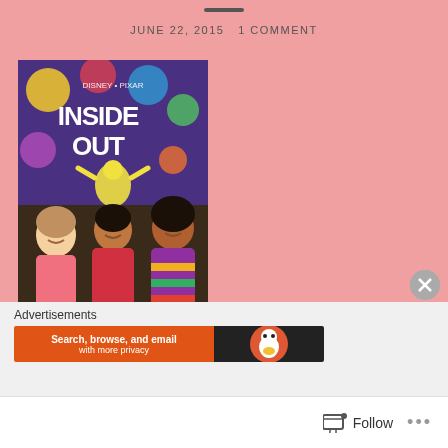JUNE 22, 2015   1 COMMENT
[Figure (photo): Three children standing in front of a Disney Pixar Inside Out movie poster. One girl in pink on the left, a boy in red in the center, and an older girl in a colorful chevron top on the right.]
Advertisements
[Figure (screenshot): DuckDuckGo advertisement banner: 'Search, browse, and email with more privacy']
Follow